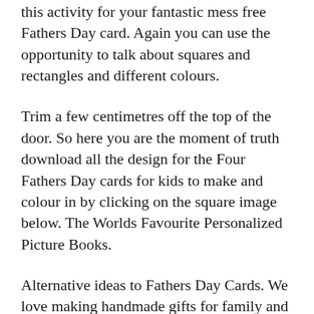this activity for your fantastic mess free Fathers Day card. Again you can use the opportunity to talk about squares and rectangles and different colours.
Trim a few centimetres off the top of the door. So here you are the moment of truth download all the design for the Four Fathers Day cards for kids to make and colour in by clicking on the square image below. The Worlds Favourite Personalized Picture Books.
Alternative ideas to Fathers Day Cards. We love making handmade gifts for family and friends but there are still lots of ways...